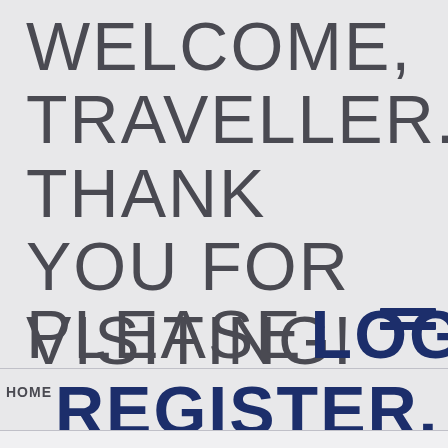WELCOME, TRAVELLER. THANK YOU FOR VISITING! PLEASE LOGIN OR REGISTER.
HOME
…and to lie to Leliana? How did you keep track
RULES